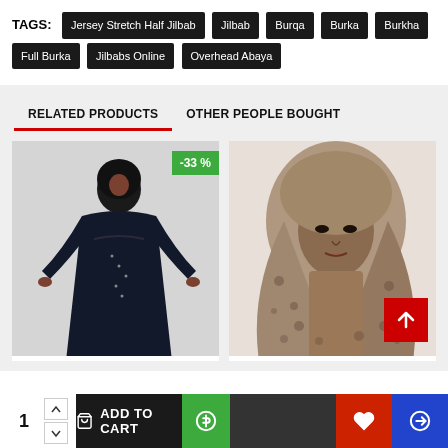TAGS: Jersey Stretch Half Jilbab  Jilbab  Burqa  Burka  Burkha  Full Burka  Jilbabs Online  Overhead Abaya
RELATED PRODUCTS
OTHER PEOPLE BOUGHT
[Figure (photo): Model wearing black abaya/jilbab, with -33% discount badge]
[Figure (photo): Model wearing beige/taupe floral hijab, with scroll-up button]
1  ADD TO CART